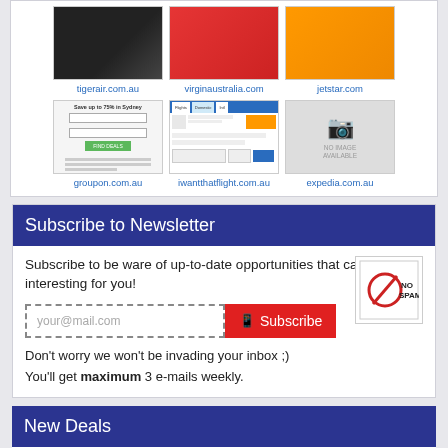[Figure (screenshot): Row of website thumbnails: tigerair.com.au, virginaustralia.com, jetstar.com]
[Figure (screenshot): Row of website thumbnails: groupon.com.au, iwantthatflight.com.au, expedia.com.au]
Subscribe to Newsletter
Subscribe to be ware of up-to-date opportunities that can be interesting for you!
your@mail.com
Subscribe
Don't worry we won't be invading your inbox ;)
You'll get maximum 3 e-mails weekly.
New Deals
Cloudways - 40% OFF for 3 Months on All Plans
15/11/2019 00:05